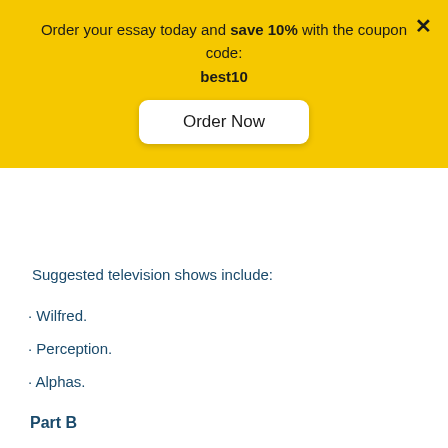Order your essay today and save 10% with the coupon code: best10
Order Now
Suggested television shows include:
· Wilfred.
· Perception.
· Alphas.
Part B